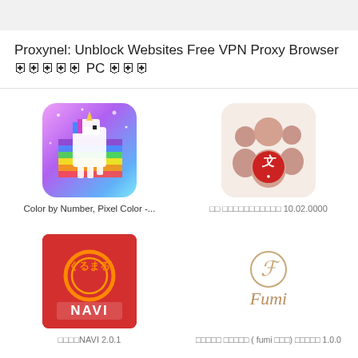Proxynel: Unblock Websites Free VPN Proxy Browser       PC    
[Figure (illustration): Pixel art unicorn app icon with rainbow and stars on purple/pink background]
Color by Number, Pixel Color -...
[Figure (illustration): Group of people figures icon with red letter on light pink background]
               10.02.0000
[Figure (illustration): Kurumaru NAVI red app icon with orange circle logo and NAVI text]
    NAVI 2.0.1
[Figure (logo): Fumi script logo in gold/tan on white background]
            ( fumi    )       1.0.0
[Figure (illustration): Partial view of high school entrance exam app icon with red and white banner]
[Figure (illustration): Partial view of ABC/あ language app icon with colorful background]